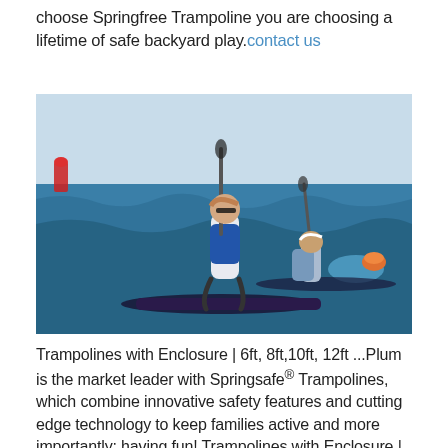choose Springfree Trampoline you are choosing a lifetime of safe backyard play. contact us
[Figure (photo): Two athletes stand-up paddleboarding on open water during a race, paddling hard through waves with buoys visible in the background.]
Trampolines with Enclosure | 6ft, 8ft,10ft, 12ft ...Plum is the market leader with Springsafe® Trampolines, which combine innovative safety features and cutting edge technology to keep families active and more importantly: having fun! Trampolines with Enclosure |